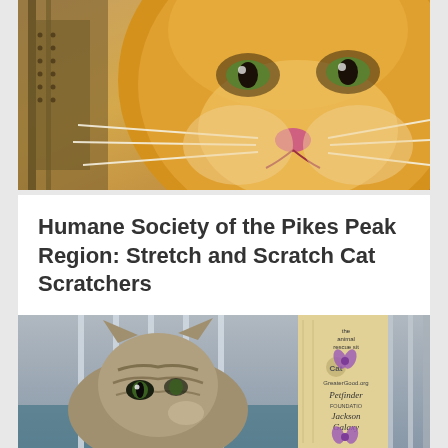[Figure (photo): Close-up photo of an orange/tan cat face with whiskers, looking toward camera, in a shelter cage environment with metal bars visible in the background.]
Humane Society of the Pikes Peak Region: Stretch and Scratch Cat Scratchers
[Figure (photo): Photo of a tabby cat with striped markings sitting inside a metal shelter cage, looking through the bars. A vertical cat scratcher board with logos including 'the animal rescue site', 'GreaterGood.org', 'Petfinder Foundation', and 'Jackson Galaxy' is visible inside the cage, tied with a purple ribbon.]